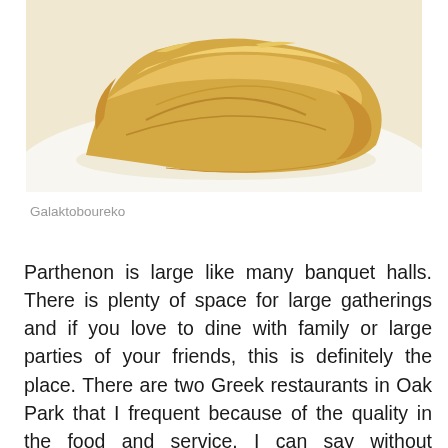[Figure (photo): Close-up photo of Galaktoboureko, a golden-brown flaky phyllo pastry dessert on a white background]
Galaktoboureko
Parthenon is large like many banquet halls. There is plenty of space for large gatherings and if you love to dine with family or large parties of your friends, this is definitely the place. There are two Greek restaurants in Oak Park that I frequent because of the quality in the food and service. I can say without hesitation that the quality of food at Parthenon is top. With this being a planned event — that being a gathering of foodies, foodists, bloggers and food